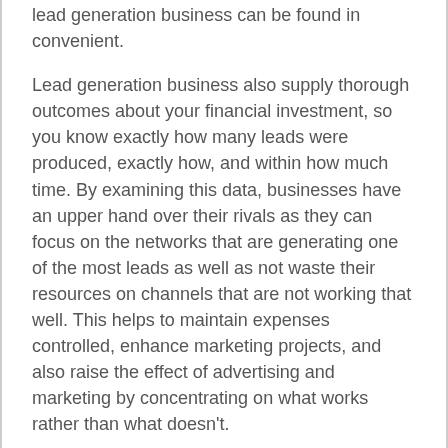lead generation business can be found in convenient.
Lead generation business also supply thorough outcomes about your financial investment, so you know exactly how many leads were produced, exactly how, and within how much time. By examining this data, businesses have an upper hand over their rivals as they can focus on the networks that are generating one of the most leads as well as not waste their resources on channels that are not working that well. This helps to maintain expenses controlled, enhance marketing projects, and also raise the effect of advertising and marketing by concentrating on what works rather than what doesn't.
For Generate Much More Sales and Revenues, the list below factors have to be taken into area
# 1. Proper Preparation
There must be a comprehensibility between all the various brand names under a company, even if there are different